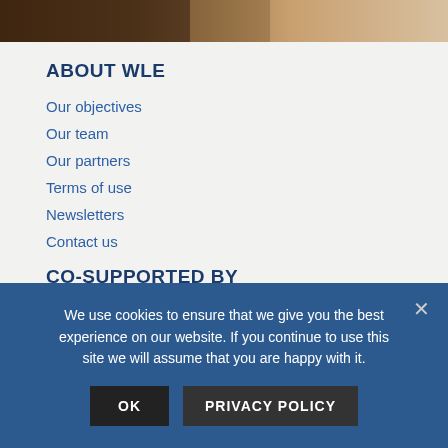[Figure (photo): Partial view of an animal (likely a bear or similar mammal) near water, cropped at top of page]
ABOUT WLE
Our objectives
Our team
Our partners
Terms of use
Newsletters
Contact us
CO-SUPPORTED BY
WLE Greater Mekong is funded in part by the Australian
We use cookies to ensure that we give you the best experience on our website. If you continue to use this site we will assume that you are happy with it.
OK
PRIVACY POLICY